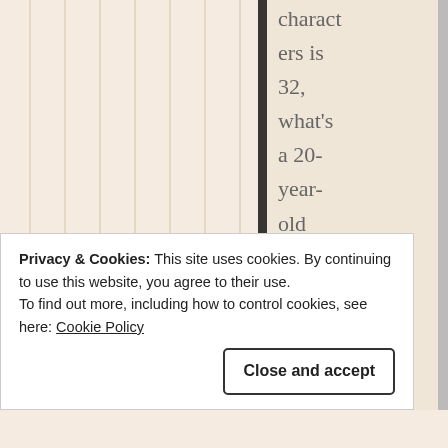characters is 32, what's a 20-year-old doing there?
★ Like
Reply
Privacy & Cookies: This site uses cookies. By continuing to use this website, you agree to their use.
To find out more, including how to control cookies, see here: Cookie Policy
Close and accept